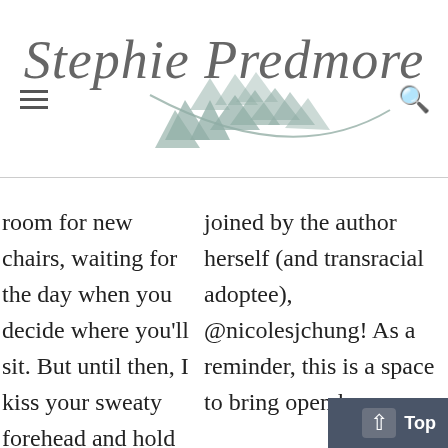[Figure (logo): Stephie Predmore blog logo with stylized cursive text and geometric triangular leaf/flower decoration in muted sage green]
room for new chairs, waiting for the day when you decide where you'll sit. But until then, I kiss your sweaty forehead and hold you tight as your
joined by the author herself (and transracial adoptee), @nicolesjchung! As a reminder, this is a space to bring open hea